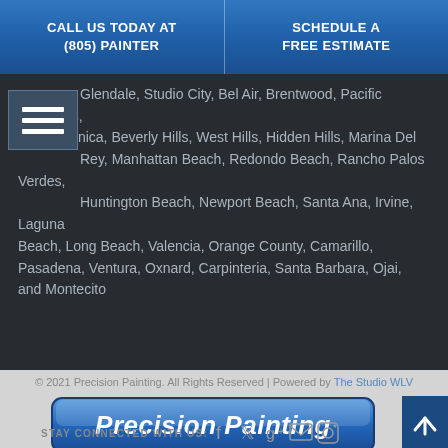CALL US TODAY AT (805) PAINTER | SCHEDULE A FREE ESTIMATE
Glendale, Studio City, Bel Air, Brentwood, Pacific Palisades, Santa Monica, Beverly Hills, West Hills, Hidden Hills, Marina Del Rey, Manhattan Beach, Redondo Beach, Rancho Palos Verdes, Huntington Beach, Newport Beach, Santa Ana, Irvine, Laguna Beach, Long Beach, Valencia, Orange County, Camarillo, Pasadena, Ventura, Oxnard, Carpinteria, Santa Barbara, Ojai, and Montecito
© 2021 Precision Painting. All Rights Reserved | Powered by The Studio WLV
[Figure (logo): Precision Painting logo — blue rounded rectangle badge with white italic bold text 'Precision Painting']
STAY CONNECTED WITH US: